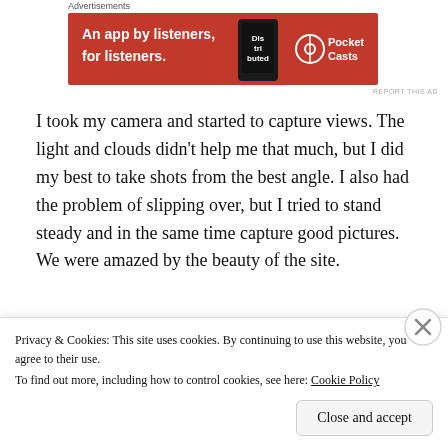Advertisements
[Figure (screenshot): Red advertisement banner for Pocket Casts app reading 'An app by listeners, for listeners.' with a phone graphic and Pocket Casts logo on right.]
REPORT THIS AD
I took my camera and started to capture views. The light and clouds didn't help me that much, but I did my best to take shots from the best angle. I also had the problem of slipping over, but I tried to stand steady and in the same time capture good pictures. We were amazed by the beauty of the site.
[Figure (photo): Partial photo showing sky/clouds with blue-grey tones, partially visible at bottom of page.]
Privacy & Cookies: This site uses cookies. By continuing to use this website, you agree to their use.
To find out more, including how to control cookies, see here: Cookie Policy
Close and accept